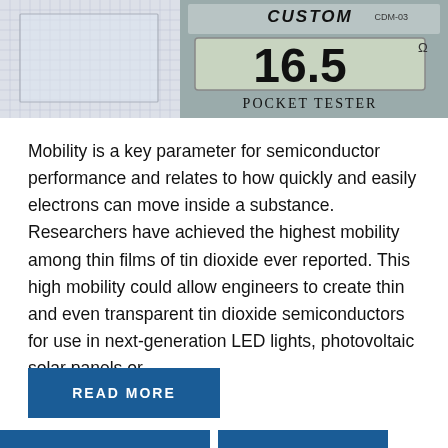[Figure (photo): Photo showing two images side by side: left is a transparent glass/thin film sample on graph paper, right is a Custom CDM-03 pocket tester displaying 16.5 ohms]
Mobility is a key parameter for semiconductor performance and relates to how quickly and easily electrons can move inside a substance. Researchers have achieved the highest mobility among thin films of tin dioxide ever reported. This high mobility could allow engineers to create thin and even transparent tin dioxide semiconductors for use in next-generation LED lights, photovoltaic solar panels or
READ MORE